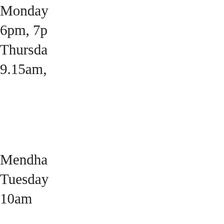Monday 6pm, 7p Thursday 9.15am,
Mendha Tuesday 10am
Wacton Thursday 9.30am
Carin w Prices Students
Home page Pilates Cla